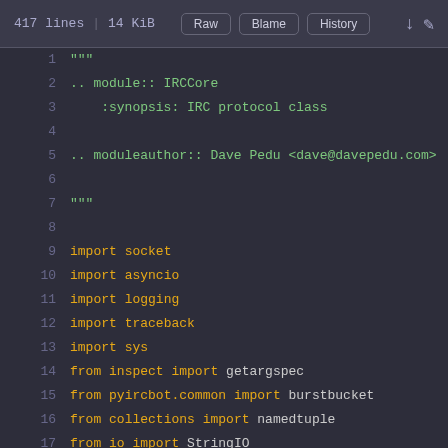417 lines | 14 KiB  Raw  Blame  History
[Figure (screenshot): Source code viewer showing Python file lines 1-19, with syntax highlighting. Dark background (#2d2d3a). Green for docstrings and RST directives, orange for import keywords and identifiers.]